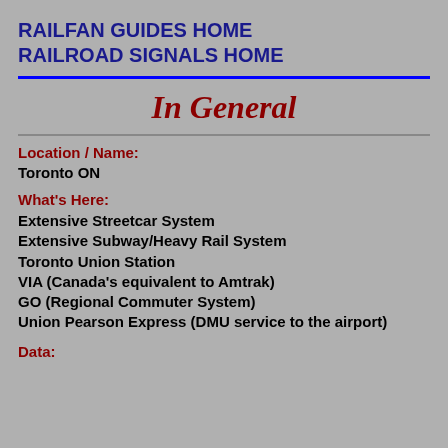RAILFAN GUIDES HOME
RAILROAD SIGNALS HOME
In General
Location / Name:
Toronto ON
What's Here:
Extensive Streetcar System
Extensive Subway/Heavy Rail System
Toronto Union Station
VIA (Canada's equivalent to Amtrak)
GO (Regional Commuter System)
Union Pearson Express (DMU service to the airport)
Data: